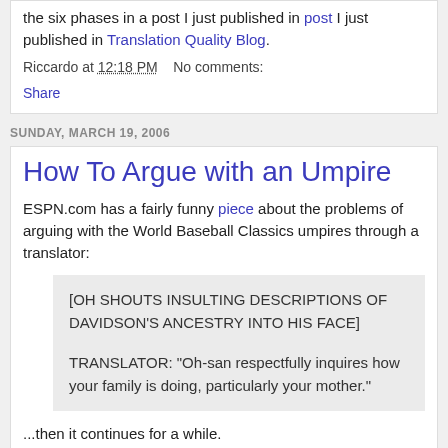the six phases in a post I just published in post I just published in Translation Quality Blog.
Riccardo at 12:18 PM    No comments:
Share
SUNDAY, MARCH 19, 2006
How To Argue with an Umpire
ESPN.com has a fairly funny piece about the problems of arguing with the World Baseball Classics umpires through a translator:
[OH SHOUTS INSULTING DESCRIPTIONS OF DAVIDSON'S ANCESTRY INTO HIS FACE]
TRANSLATOR: "Oh-san respectfully inquires how your family is doing, particularly your mother."
...then it continues for a while.